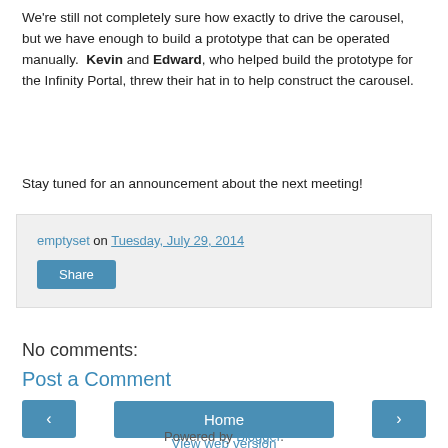We're still not completely sure how exactly to drive the carousel, but we have enough to build a prototype that can be operated manually. Kevin and Edward, who helped build the prototype for the Infinity Portal, threw their hat in to help construct the carousel.
Stay tuned for an announcement about the next meeting!
emptyset on Tuesday, July 29, 2014
Share
No comments:
Post a Comment
< Home >
View web version
Powered by Blogger.